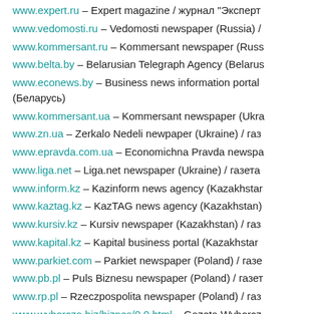www.expert.ru – Expert magazine / журнал "Эксперт"...
www.vedomosti.ru – Vedomosti newspaper (Russia) /...
www.kommersant.ru – Kommersant newspaper (Russia)...
www.belta.by – Belarusian Telegraph Agency (Belarus)...
www.econews.by – Business news information portal... (Беларусь)
www.kommersant.ua – Kommersant newspaper (Ukraine)...
www.zn.ua – Zerkalo Nedeli newpaper (Ukraine) / газ...
www.epravda.com.ua – Economichna Pravda newspa...
www.liga.net – Liga.net newspaper (Ukraine) / газета...
www.inform.kz – Kazinform news agency (Kazakhstan)...
www.kaztag.kz – KazTAG news agency (Kazakhstan)...
www.kursiv.kz – Kursiv newspaper (Kazakhstan) / газ...
www.kapital.kz – Kapital business portal (Kazakhstan)...
www.parkiet.com – Parkiet newspaper (Poland) / газе...
www.pb.pl – Puls Biznesu newspaper (Poland) / газет...
www.rp.pl – Rzeczpospolita newspaper (Poland) / газ...
www.wyborcza.biz/biznes/0,0.html – Gazeta Wyborcz...
www.portturkey.com – PortTurkey news portal (Turkey)...
www.hurriyetdailynews.com – Hurriyet Daily News ne...